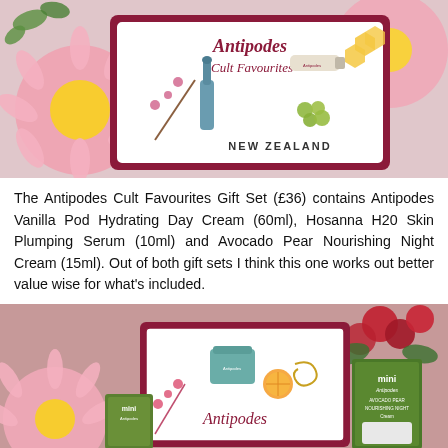[Figure (photo): Antipodes Cult Favourites Gift Set box with pink flowers and floral background. The white box with dark pink/maroon border shows illustrations of skincare products, honeycomb, grapes, and reads 'Antipodes Cult Favourites NEW ZEALAND'.]
The Antipodes Cult Favourites Gift Set (£36) contains Antipodes Vanilla Pod Hydrating Day Cream (60ml), Hosanna H20 Skin Plumping Serum (10ml) and Avocado Pear Nourishing Night Cream (15ml). Out of both gift sets I think this one works out better value wise for what's included.
[Figure (photo): Antipodes skincare gift set with a white box with dark pink border showing a cream jar and 'Antipodes' branding, surrounded by red and pink flowers on a pink/mauve background. Small 'mini Antipodes Avocado Pear Nourishing Night Cream' boxes visible on left and right.]